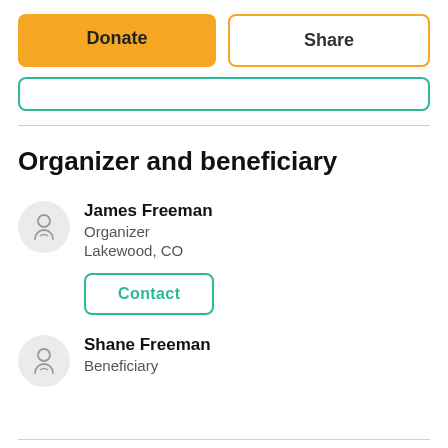Donate
Share
Organizer and beneficiary
James Freeman
Organizer
Lakewood, CO
Contact
Shane Freeman
Beneficiary